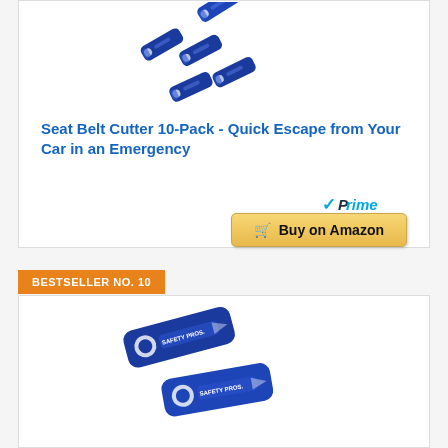[Figure (photo): Blue seat belt cutter tools, 10-pack, scattered arrangement on white background]
Seat Belt Cutter 10-Pack - Quick Escape from Your Car in an Emergency
[Figure (logo): Amazon Prime badge with blue checkmark and Prime text]
Buy on Amazon
BESTSELLER NO. 10
[Figure (photo): Two blue seat belt cutter tools with Safety Pros branding]